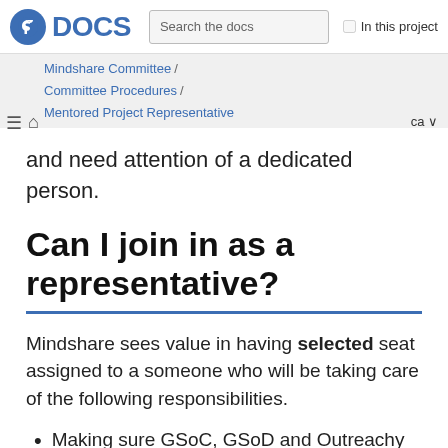Fedora DOCS — Search the docs — In this project
Mindshare Committee / Committee Procedures / Mentored Project Representative — ca
and need attention of a dedicated person.
Can I join in as a representative?
Mindshare sees value in having selected seat assigned to a someone who will be taking care of the following responsibilities.
Making sure GSoC, GSoD and Outreachy applications are submitted on time.